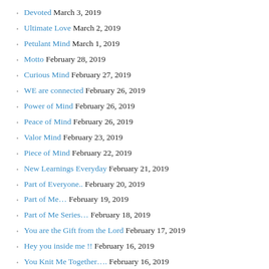Devoted March 3, 2019
Ultimate Love March 2, 2019
Petulant Mind March 1, 2019
Motto February 28, 2019
Curious Mind February 27, 2019
WE are connected February 26, 2019
Power of Mind February 26, 2019
Peace of Mind February 26, 2019
Valor Mind February 23, 2019
Piece of Mind February 22, 2019
New Learnings Everyday February 21, 2019
Part of Everyone.. February 20, 2019
Part of Me… February 19, 2019
Part of Me Series… February 18, 2019
You are the Gift from the Lord February 17, 2019
Hey you inside me !! February 16, 2019
You Knit Me Together…. February 16, 2019